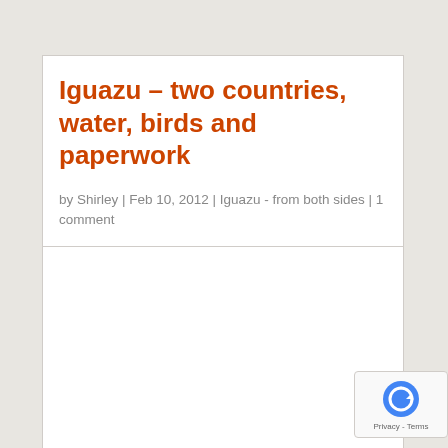Iguazu – two countries, water, birds and paperwork
by Shirley | Feb 10, 2012 | Iguazu - from both sides | 1 comment
[Figure (other): Image placeholder area below article header, content not visible]